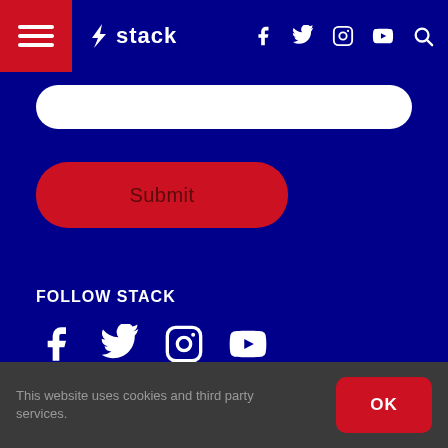Stack — navigation bar with hamburger menu, Stack logo, social icons (Facebook, Twitter, Instagram, YouTube), and search icon
[Figure (screenshot): White rounded input bar for form submission]
Submit
FOLLOW STACK
[Figure (infographic): Social media icons: Facebook, Twitter, Instagram, YouTube in white on dark blue background]
Write For Us
Advertise With Us
This website uses cookies and third party services.
OK